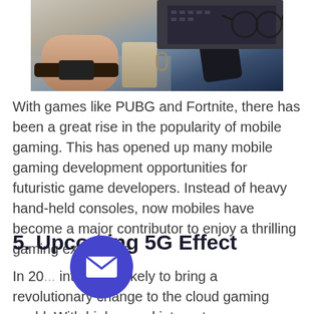[Figure (photo): Photo of hands holding a phone near a mug and glasses on a table, with a smartwatch visible on the wrist.]
With games like PUBG and Fortnite, there has been a great rise in the popularity of mobile gaming. This has opened up many mobile gaming development opportunities for futuristic game developers. Instead of heavy hand-held consoles, now mobiles have become a major contributor to enjoy a thrilling gaming experience.
5. Upcoming 5G Effect
In 20... internet is likely to bring a revolutionary change to the cloud gaming world. With high-speed internet, game